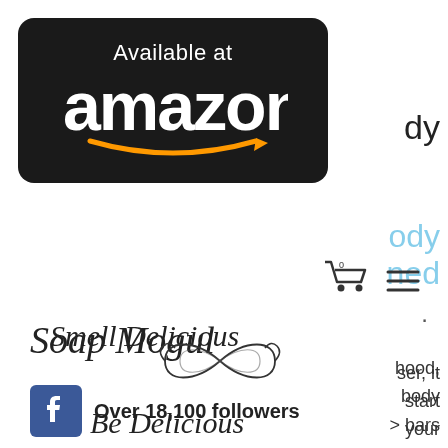[Figure (logo): Amazon 'Available at amazon' badge — black rounded rectangle with white text 'Available at' above large white 'amazon' wordmark and orange smile/arrow logo]
dy
ody
ned
[Figure (other): Shopping cart icon and hamburger menu icon]
Soap Mogul
.
[Figure (logo): Facebook logo icon — blue square with white 'f' letter]
Over 18,100 followers
ser, it
start
your
are
life or
hood,
body
bars
Smell Delicious
[Figure (illustration): Decorative infinity knot / flourish ornament]
Be Delicious